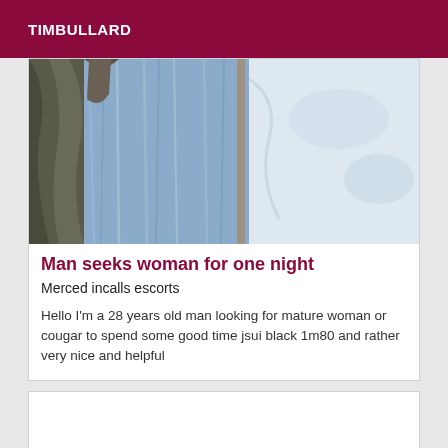TIMBULLARD
[Figure (photo): Aerial or close-up photo of a waterfall with rushing water over rocks, split view showing water cascade on left and snowy or misty terrain on right]
Man seeks woman for one night
Merced incalls escorts
Hello I'm a 28 years old man looking for mature woman or cougar to spend some good time jsui black 1m80 and rather very nice and helpful